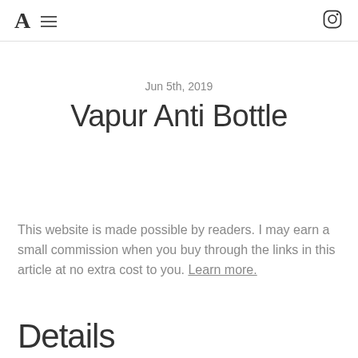A ≡ [Instagram icon]
Jun 5th, 2019
Vapur Anti Bottle
This website is made possible by readers. I may earn a small commission when you buy through the links in this article at no extra cost to you. Learn more.
Details